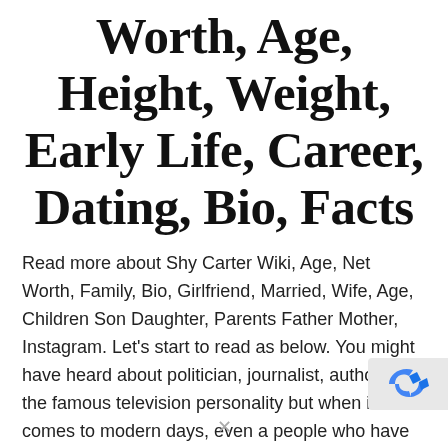Worth, Age, Height, Weight, Early Life, Career, Dating, Bio, Facts
Read more about Shy Carter Wiki, Age, Net Worth, Family, Bio, Girlfriend, Married, Wife, Age, Children Son Daughter, Parents Father Mother, Instagram. Let's start to read as below. You might have heard about politician, journalist, author or the famous television personality but when it comes to modern days, even a people who have huge followers...
February 17, 2021